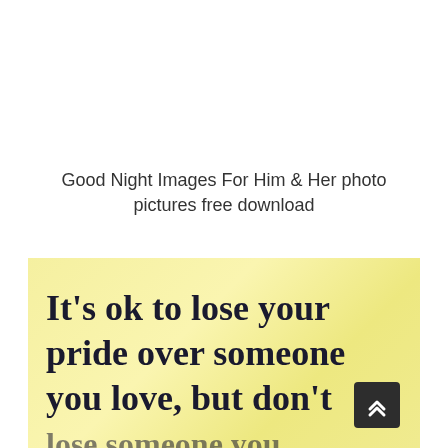Good Night Images For Him & Her photo pictures free download
[Figure (illustration): Yellow background inspirational quote image with handwritten-style text reading: It's ok to lose your pride over someone you love, but don't lose someone you love over your pride. A dark scroll-to-top button is visible in the lower right corner.]